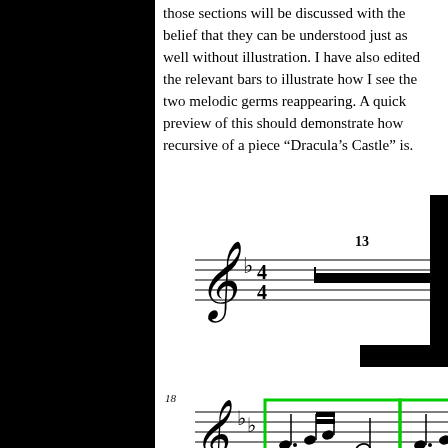those sections will be discussed with the belief that they can be understood just as well without illustration. I have also edited the relevant bars to illustrate how I see the two melodic germs reappearing. A quick preview of this should demonstrate how recursive of a piece “Dracula’s Castle” is.
[Figure (illustration): Musical score excerpt showing treble clef in B-flat, 4/4 time signature, with measure number 13 marked, followed by measures with notes including dotted rhythms and beamed eighth notes, with green boxes highlighting specific measures.]
[Figure (illustration): Second line of musical score starting at measure 18, B-flat major, with green boxes around two measures of melodic material and a blue box around a third measure with triplet marking.]
[Figure (illustration): Third line of musical score starting at measure 21, B-flat major, with green and blue boxes highlighting measures.]